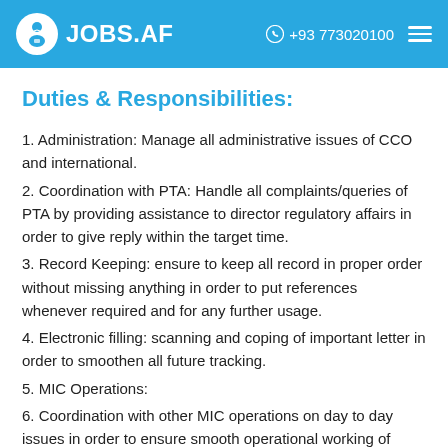JOBS.AF  +93 773020100
Duties & Responsibilities:
1. Administration: Manage all administrative issues of CCO and international.
2. Coordination with PTA: Handle all complaints/queries of PTA by providing assistance to director regulatory affairs in order to give reply within the target time.
3. Record Keeping: ensure to keep all record in proper order without missing anything in order to put references whenever required and for any further usage.
4. Electronic filling: scanning and coping of important letter in order to smoothen all future tracking.
5. MIC Operations:
6. Coordination with other MIC operations on day to day issues in order to ensure smooth operational working of